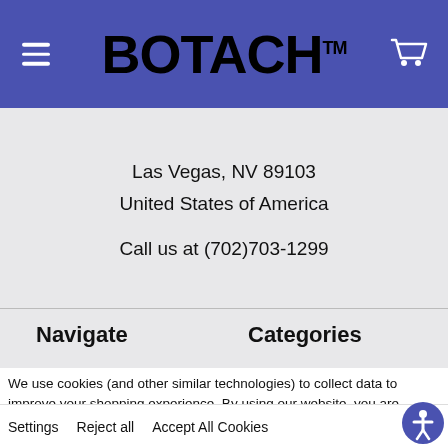BOTACH™
Las Vegas, NV 89103
United States of America

Call us at (702)703-1299
Navigate
Categories
Auctions
Ammo
Contact Us
Accessories
GSA
Bulk Buy/ Lot Sales
Reloading
We use cookies (and other similar technologies) to collect data to improve your shopping experience. By using our website, you are agreeing to the collection of data as described in our Privacy Policy.
Settings   Reject all   Accept All Cookies